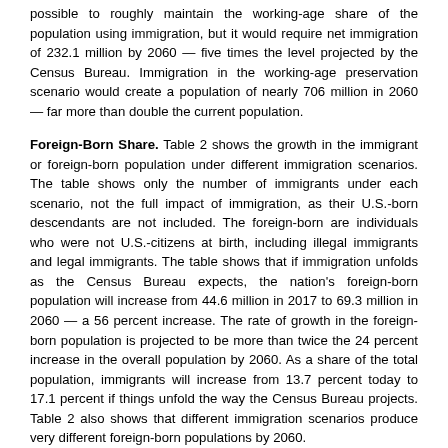possible to roughly maintain the working-age share of the population using immigration, but it would require net immigration of 232.1 million by 2060 — five times the level projected by the Census Bureau. Immigration in the working-age preservation scenario would create a population of nearly 706 million in 2060 — far more than double the current population.
Foreign-Born Share. Table 2 shows the growth in the immigrant or foreign-born population under different immigration scenarios. The table shows only the number of immigrants under each scenario, not the full impact of immigration, as their U.S.-born descendants are not included. The foreign-born are individuals who were not U.S.-citizens at birth, including illegal immigrants and legal immigrants. The table shows that if immigration unfolds as the Census Bureau expects, the nation's foreign-born population will increase from 44.6 million in 2017 to 69.3 million in 2060 — a 56 percent increase. The rate of growth in the foreign-born population is projected to be more than twice the 24 percent increase in the overall population by 2060. As a share of the total population, immigrants will increase from 13.7 percent today to 17.1 percent if things unfold the way the Census Bureau projects. Table 2 also shows that different immigration scenarios produce very different foreign-born populations by 2060.